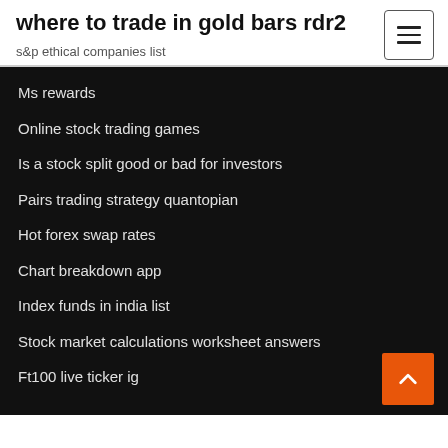where to trade in gold bars rdr2
s&p ethical companies list
Ms rewards
Online stock trading games
Is a stock split good or bad for investors
Pairs trading strategy quantopian
Hot forex swap rates
Chart breakdown app
Index funds in india list
Stock market calculations worksheet answers
Ft100 live ticker ig